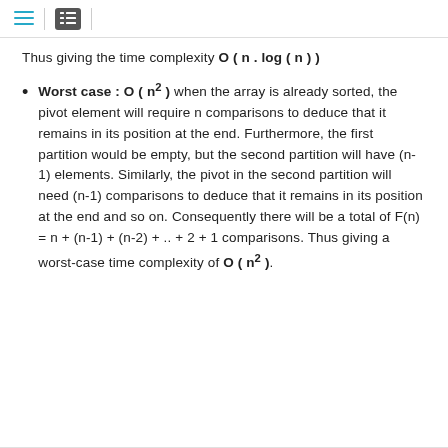menu | list icons
Thus giving the time complexity O ( n . log ( n ) )
Worst case : O ( n² ) when the array is already sorted, the pivot element will require n comparisons to deduce that it remains in its position at the end. Furthermore, the first partition would be empty, but the second partition will have (n-1) elements. Similarly, the pivot in the second partition will need (n-1) comparisons to deduce that it remains in its position at the end and so on. Consequently there will be a total of F(n) = n + (n-1) + (n-2) + .. + 2 + 1 comparisons. Thus giving a worst-case time complexity of O ( n² ).